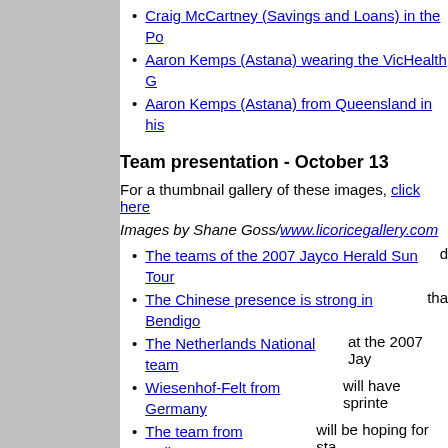Craig McCartney (Savings and Loans) in the Po…
Aaron Kemps (Astana) wearing the VicHealth G…
Aaron Kemps (Astana) from Queensland in his…
Team presentation - October 13
For a thumbnail gallery of these images, click here
Images by Shane Goss/www.licoricegallery.com
The teams of the 2007 Jayco Herald Sun Tour d…
The Chinese presence is strong in Bendigo tha…
The Netherlands National team at the 2007 Jay…
Wiesenhof-Felt from Germany will have sprinte…
The team from Unibet.com will be hoping for sta…
Only two riders and team-manager Rod McGee… presentation
The Japanese team of Nippo-Meitan Latrobe C… team's presentation
The Mitchelton Wines New Zealand National tea…
The boys from the NSWIS/FRF team at the tea…
The Drapac Porsche boys with current Australia…
The team of DFL-Cyclingnews at the 2007 Jayc…
The USA team of Bissell-Priority Health at the 2…
The Swiss team of Astana will be a major playe…
The Bicycle Superstore Canadian National team…
The South Australian team of Savings and Loa…
The Jayco Australian National team minus Stua…
Belting out a tune for the 2007 Jayco Herald Su…
2007 Australian Road Champion, Darren Lapth… on the tour
Daniel Lloyd (DFL-Cyclingnews) from Great Brit…